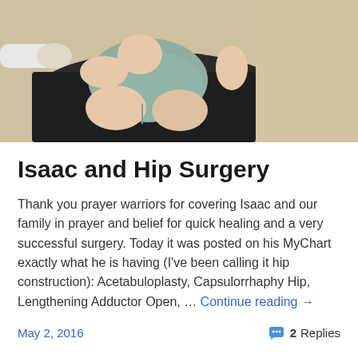[Figure (photo): Photo of a baby/young child in a grey onesie lying on a dark towel on sand at the beach, with an adult's hands visible behind them]
Isaac and Hip Surgery
Thank you prayer warriors for covering Isaac and our family in prayer and belief for quick healing and a very successful surgery. Today it was posted on his MyChart exactly what he is having (I've been calling it hip construction): Acetabuloplasty, Capsulorrhaphy Hip, Lengthening Adductor Open, … Continue reading →
May 2, 2016   2 Replies